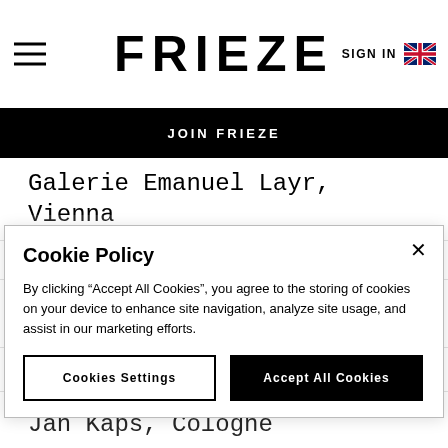FRIEZE
JOIN FRIEZE
Galerie Emanuel Layr, Vienna
Grey Noise, Dubai
High Art, Paris
Hopkinson Mossman, Auckland
Jan Kaps, Cologne
Cookie Policy
By clicking “Accept All Cookies”, you agree to the storing of cookies on your device to enhance site navigation, analyze site usage, and assist in our marketing efforts.
Cookies Settings | Accept All Cookies